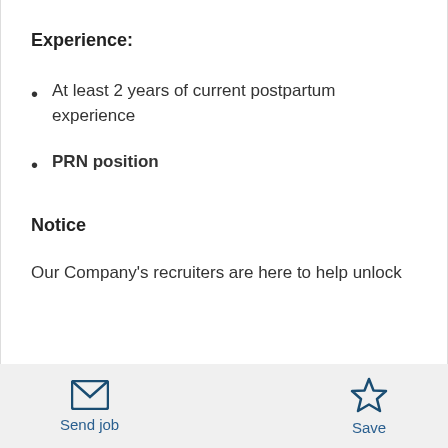Experience:
At least 2 years of current postpartum experience
PRN position
Notice
Our Company's recruiters are here to help unlock
Send job  Save